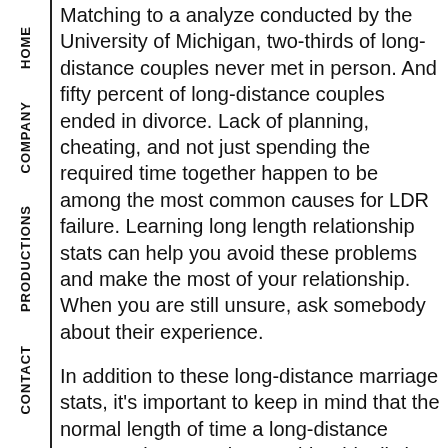HOME | COMPANY | PRODUCTIONS | CONTACT
Matching to a analyze conducted by the University of Michigan, two-thirds of long-distance couples never met in person. And fifty percent of long-distance couples ended in divorce. Lack of planning, cheating, and not just spending the required time together happen to be among the most common causes for LDR failure. Learning long length relationship stats can help you avoid these problems and make the most of your relationship. When you are still unsure, ask somebody about their experience.
In addition to these long-distance marriage stats, it's important to keep in mind that the normal length of time a long-distance romance lasts can be considerably distinct from a proximate relationship. In addition to range, long-distance couples often fret